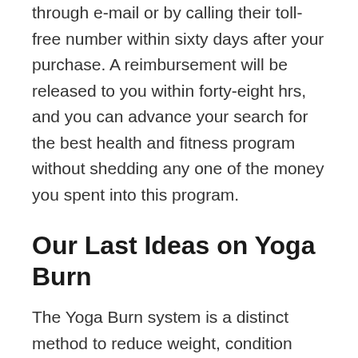through e-mail or by calling their toll-free number within sixty days after your purchase. A reimbursement will be released to you within forty-eight hrs, and you can advance your search for the best health and fitness program without shedding any one of the money you spent into this program.
Our Last Ideas on Yoga Burn
The Yoga Burn system is a distinct method to reduce weight, condition your muscle mass, as well as boost your flexibility. The program is designed especially for females to help them Burn calories as well as achieve their desired health and fitness objectives all from the comfort of their houses. Although like several workout programs, results are discussed by some consists of